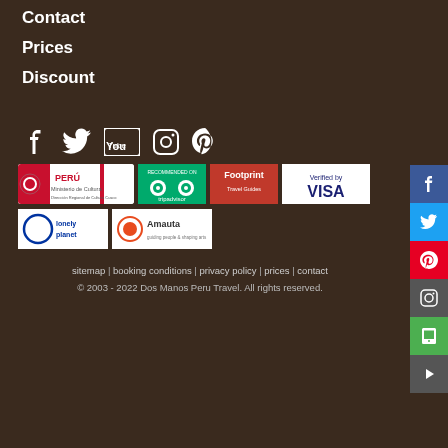Contact
Prices
Discount
[Figure (logo): Social media icons: Facebook, Twitter, YouTube, Instagram, Pinterest]
[Figure (logo): Partner/certification badges row 1: Peru Ministerio de Cultura, TripAdvisor Recommended, Footprint Travel Guides, Verified by VISA]
[Figure (logo): Partner badges row 2: Lonely Planet, Amauta]
sitemap | booking conditions | privacy policy | prices | contact
© 2003 - 2022 Dos Manos Peru Travel. All rights reserved.